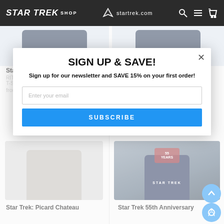STAR TREK SHOP | startrek.com
[Figure (screenshot): Star Trek Shop website with product grid showing t-shirts. Left: Star Trek Lower Decks RITOS Adult Short Sleeve T-Shirt from $23.95. Right: Star Trek Discovery Disco Men's Short Sleeve T-Shirt from $22.95 with Fast Ship Item label. Bottom left: Star Trek Picard Chateau t-shirt (gray). Bottom right: Star Trek 55th Anniversary t-shirt (model wearing dark shirt).]
[Figure (screenshot): Modal popup: SIGN UP & SAVE! Sign up for our newsletter and SAVE 15% on your first order! Email input field and SUBSCRIBE button.]
Star Trek: Lower Decks
RITOS Adult Short Sleeve T-Shirt
from $23.95
Star Trek: Discovery Disco
Men's Short Sleeve T-Shirt
from $22.95
Fast Ship Item
SIGN UP & SAVE!
Sign up for our newsletter and SAVE 15% on your first order!
Star Trek: Picard Chateau
Star Trek 55th Anniversary